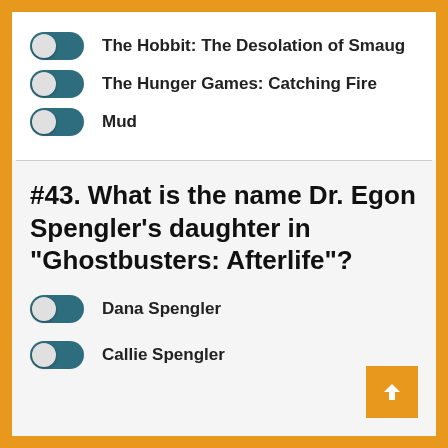The Hobbit: The Desolation of Smaug
The Hunger Games: Catching Fire
Mud
#43. What is the name Dr. Egon Spengler's daughter in "Ghostbusters: Afterlife"?
Dana Spengler
Callie Spengler